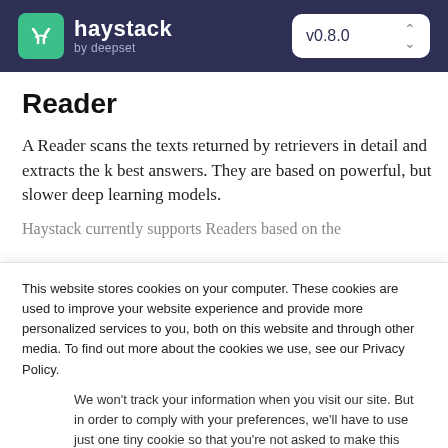haystack by deepset — v0.8.0
Reader
A Reader scans the texts returned by retrievers in detail and extracts the k best answers. They are based on powerful, but slower deep learning models.
Haystack currently supports Readers based on the
This website stores cookies on your computer. These cookies are used to improve your website experience and provide more personalized services to you, both on this website and through other media. To find out more about the cookies we use, see our Privacy Policy.
We won't track your information when you visit our site. But in order to comply with your preferences, we'll have to use just one tiny cookie so that you're not asked to make this choice again.